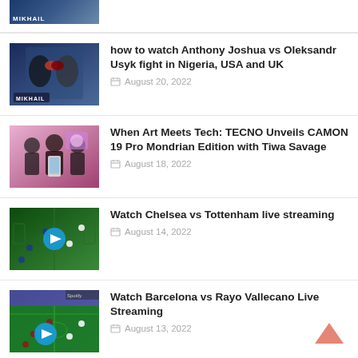[Figure (photo): Partial boxing photo thumbnail at top of page]
[Figure (photo): Boxing match between Anthony Joshua and Oleksandr Usyk]
how to watch Anthony Joshua vs Oleksandr Usyk fight in Nigeria, USA and UK
August 20, 2022
[Figure (photo): TECNO CAMON 19 Pro Mondrian Edition launch event with Tiwa Savage]
When Art Meets Tech: TECNO Unveils CAMON 19 Pro Mondrian Edition with Tiwa Savage
August 18, 2022
[Figure (photo): Soccer match video thumbnail - Chelsea vs Tottenham]
Watch Chelsea vs Tottenham live streaming
August 14, 2022
[Figure (photo): Soccer match video thumbnail - Barcelona vs Rayo Vallecano]
Watch Barcelona vs Rayo Vallecano Live Streaming
August 13, 2022